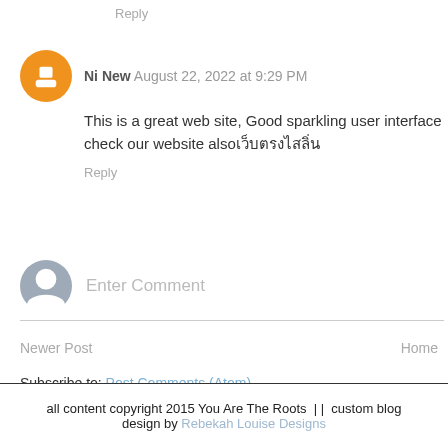Reply
Ni New August 22, 2022 at 9:29 PM
This is a great web site, Good sparkling user interface check our website alsoเว็บตรงไสลิ่น
Reply
Enter Comment
Newer Post
Home
Subscribe to: Post Comments (Atom)
all content copyright 2015 You Are The Roots | | custom blog design by Rebekah Louise Designs